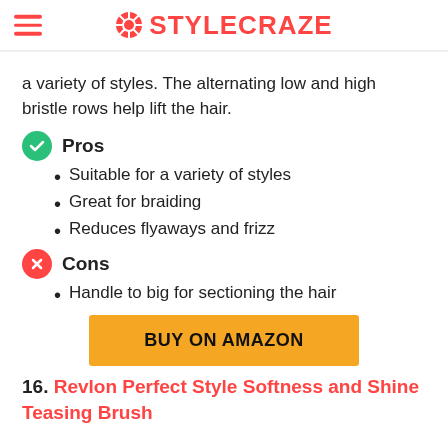STYLECRAZE
a variety of styles. The alternating low and high bristle rows help lift the hair.
Pros
Suitable for a variety of styles
Great for braiding
Reduces flyaways and frizz
Cons
Handle to big for sectioning the hair
BUY ON AMAZON
16. Revlon Perfect Style Softness and Shine Teasing Brush